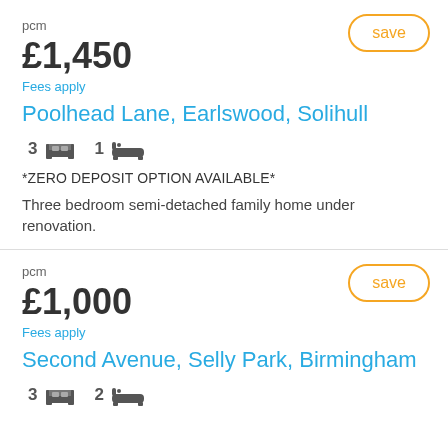pcm
£1,450
Fees apply
save
Poolhead Lane, Earlswood, Solihull
3 bedrooms, 1 bathroom
*ZERO DEPOSIT OPTION AVAILABLE*
Three bedroom semi-detached family home under renovation.
pcm
£1,000
Fees apply
save
Second Avenue, Selly Park, Birmingham
3 bedrooms, 2 bathrooms